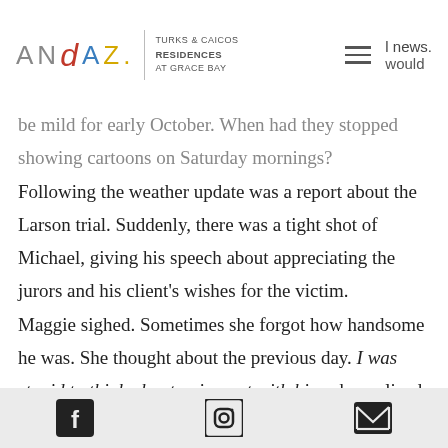ANDAZ. TURKS & CAICOS RESIDENCES AT GRACE BAY | news. [hamburger menu] would
be mild for early October. When had they stopped showing cartoons on Saturday mornings?
Following the weather update was a report about the Larson trial. Suddenly, there was a tight shot of Michael, giving his speech about appreciating the jurors and his client's wishes for the victim.
Maggie sighed. Sometimes she forgot how handsome he was. She thought about the previous day. I was stupid to think about going out with him, she realized. We work together and that's not appropriate.
Facebook Instagram Email icons